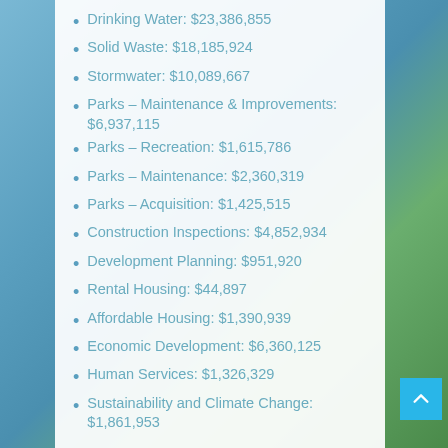Drinking Water: $23,386,855
Solid Waste: $18,185,924
Stormwater: $10,089,667
Parks – Maintenance & Improvements: $6,937,115
Parks – Recreation: $1,615,786
Parks – Maintenance: $2,360,319
Parks – Acquisition: $1,425,515
Construction Inspections: $4,852,934
Development Planning: $951,920
Rental Housing: $44,897
Affordable Housing: $1,390,939
Economic Development: $6,360,125
Human Services: $1,326,329
Sustainability and Climate Change: $1,861,953